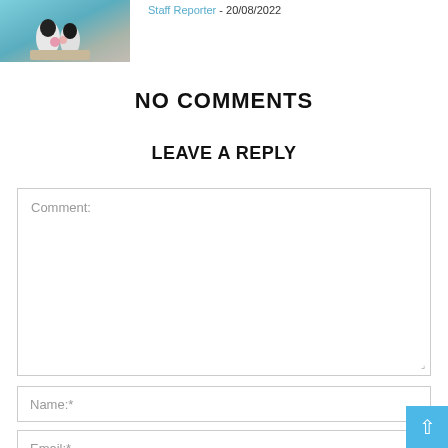[Figure (photo): Thumbnail photo of penguins or seabirds on a beach with colorful background]
Staff Reporter - 20/08/2022
NO COMMENTS
LEAVE A REPLY
Comment:
Name:*
Email:*